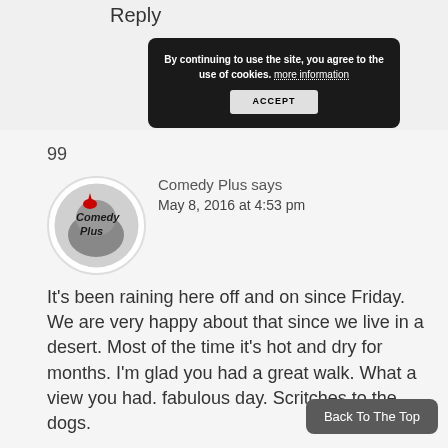Reply
By continuing to use the site, you agree to the use of cookies. more information ACCEPT
99
[Figure (logo): Comedy Plus circular logo with stylized text and cartoon characters on grey background]
Comedy Plus says
May 8, 2016 at 4:53 pm
It's been raining here off and on since Friday. We are very happy about that since we live in a desert. Most of the time it's hot and dry for months. I'm glad you had a great walk. What a view you had. fabulous day. Scritches to the dogs.
Back To The Top